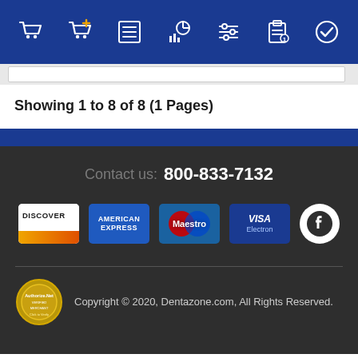[Figure (other): Navigation bar with 7 icons: shopping cart, cart with plus, list/order, chart/analytics, filter/settings, clipboard, checkmark circle]
Showing 1 to 8 of 8 (1 Pages)
[Figure (other): Footer section with contact number 800-833-7132, payment method icons (Discover, American Express, Maestro, Visa Electron, Facebook), Authorize.Net badge, and copyright notice]
Copyright © 2020, Dentazone.com, All Rights Reserved.